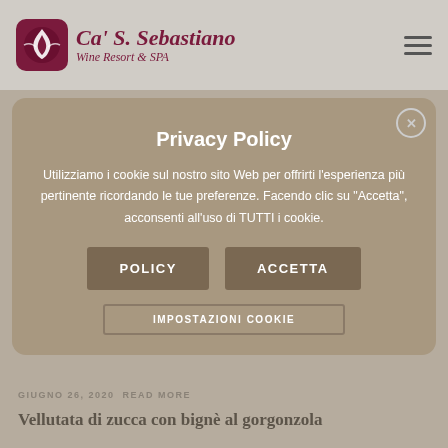Ca' S. Sebastiano Wine Resort & SPA
Privacy Policy
Utilizziamo i cookie sul nostro sito Web per offrirti l'esperienza più pertinente ricordando le tue preferenze. Facendo clic su "Accetta", acconsenti all'uso di TUTTI i cookie.
POLICY  ACCETTA
GIUGNO 26, 2020  READ MORE
Vellutata di zucca con bignè al gorgonzola
GIUGNO 25, 2020 | READ MORE